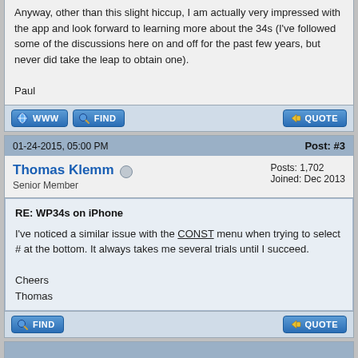Anyway, other than this slight hiccup, I am actually very impressed with the app and look forward to learning more about the 34s (I've followed some of the discussions here on and off for the past few years, but never did take the leap to obtain one).

Paul
01-24-2015, 05:00 PM
Post: #3
Thomas Klemm
Senior Member
Posts: 1,702
Joined: Dec 2013
RE: WP34s on iPhone
I've noticed a similar issue with the CONST menu when trying to select # at the bottom. It always takes me several trials until I succeed.

Cheers
Thomas